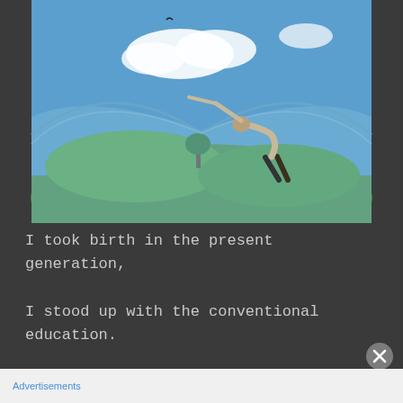[Figure (photo): A surrealist photo of a person bending backward and pulling open a sky-like fabric sheet to reveal a lush green landscape beneath, with blue sky, clouds, rolling green hills, and a tree in the background.]
I took birth in the present generation,

I stood up with the conventional education.
Advertisements